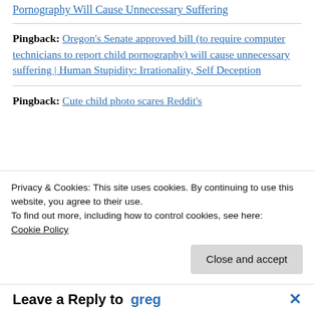Pornography Will Cause Unnecessary Suffering (link)
Pingback: Oregon’s Senate approved bill (to require computer technicians to report child pornography) will cause unnecessary suffering | Human Stupidity: Irrationality, Self Deception
Pingback: Cute child photo scares Reddit’s …
Privacy & Cookies: This site uses cookies. By continuing to use this website, you agree to their use.
To find out more, including how to control cookies, see here:
Cookie Policy
Close and accept
Leave a Reply to greg ×